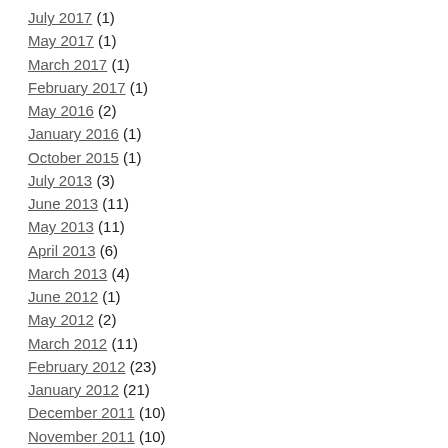July 2017 (1)
May 2017 (1)
March 2017 (1)
February 2017 (1)
May 2016 (2)
January 2016 (1)
October 2015 (1)
July 2013 (3)
June 2013 (11)
May 2013 (11)
April 2013 (6)
March 2013 (4)
June 2012 (1)
May 2012 (2)
March 2012 (11)
February 2012 (23)
January 2012 (21)
December 2011 (10)
November 2011 (10)